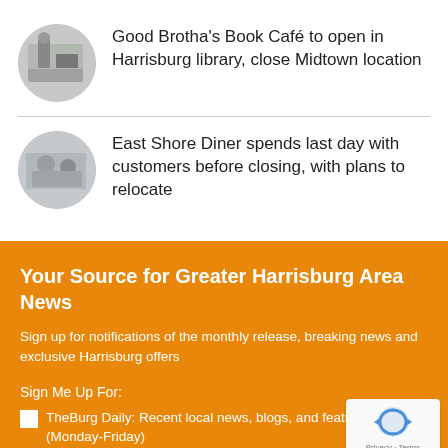Good Brotha's Book Café to open in Harrisburg library, close Midtown location
[Figure (photo): Circular thumbnail photo of a person in a store or library]
East Shore Diner spends last day with customers before closing, with plans to relocate
[Figure (photo): Circular thumbnail photo of people inside a diner]
Your Source for Greater Harrisburg Area News
Sign up for notifications of the monthly release, breaking news and exclusive Harrisburg offers
Sign Me Up For:
TheBurg Daily: Recent local news, blogs, and features. (Monday-Friday)